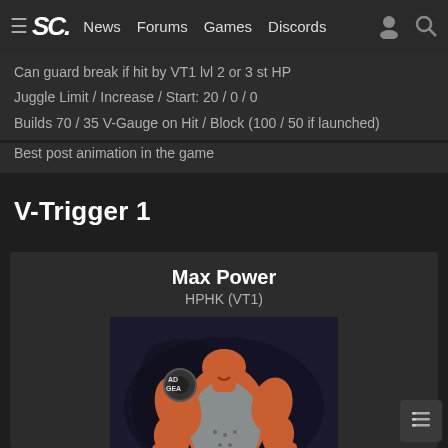≡ SC  News  Forums  Games  Discords
Can guard break if hit by VT1 lvl 2 or 3 st HP
Juggle Limit / Increase / Start: 20 / 0 / 0
Builds 70 / 35 V-Gauge on Hit / Block (100 / 50 if launched)
Best post animation in the game
V-Trigger 1
Max Power
HPHK (VT1)
[Figure (photo): 3D figurine of Abigail from Street Fighter, a large muscular character with orange/red skin, wearing a grey tank top and grey pants with a belt, posed dynamically mid-movement]